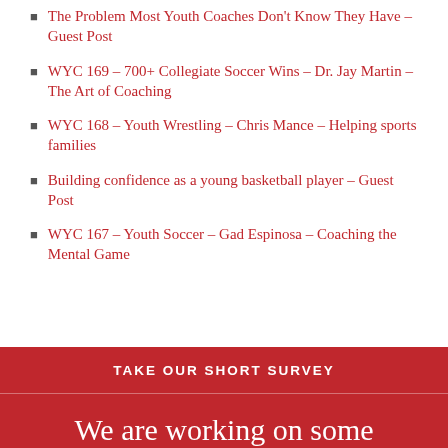The Problem Most Youth Coaches Don't Know They Have – Guest Post
WYC 169 – 700+ Collegiate Soccer Wins – Dr. Jay Martin – The Art of Coaching
WYC 168 – Youth Wrestling – Chris Mance – Helping sports families
Building confidence as a young basketball player – Guest Post
WYC 167 – Youth Soccer – Gad Espinosa – Coaching the Mental Game
TAKE OUR SHORT SURVEY
We are working on some